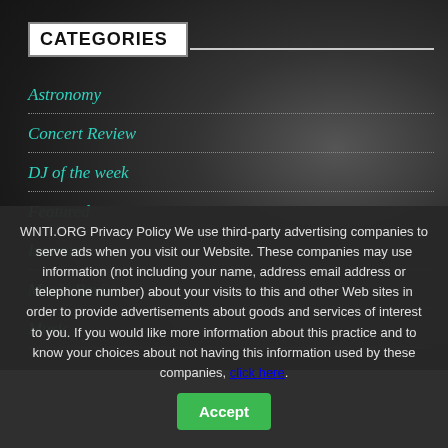CATEGORIES
Astronomy
Concert Review
DJ of the week
Featured
Interview
Movie Review
Music
WNTI.ORG Privacy Policy We use third-party advertising companies to serve ads when you visit our Website. These companies may use information (not including your name, address email address or telephone number) about your visits to this and other Web sites in order to provide advertisements about goods and services of interest to you. If you would like more information about this practice and to know your choices about not having this information used by these companies, click here.